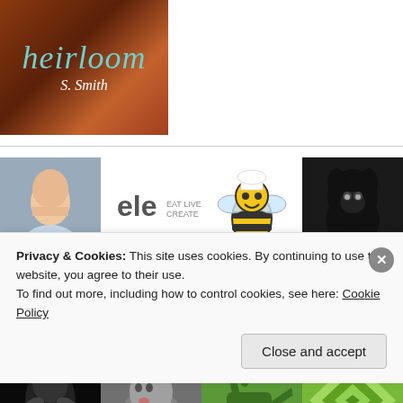[Figure (illustration): Book cover for 'heirloom' by S. Smith with teal italic title text on a dark reddish-brown background with author signature in white]
[Figure (photo): Grid of avatar/profile images including people photos, icons, logos, and decorative tiles arranged in rows]
Privacy & Cookies: This site uses cookies. By continuing to use this website, you agree to their use.
To find out more, including how to control cookies, see here: Cookie Policy
Close and accept